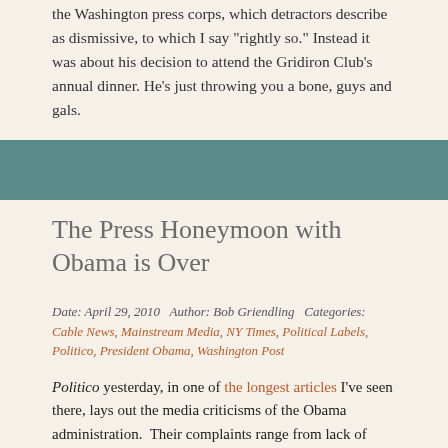the Washington press corps, which detractors describe as dismissive, to which I say “rightly so.” Instead it was about his decision to attend the Gridiron Club’s annual dinner. He’s just throwing you a bone, guys and gals.
The Press Honeymoon with Obama is Over
Date: April 29, 2010   Author: Bob Griendling   Categories: Cable News, Mainstream Media, NY Times, Political Labels, Politico, President Obama, Washington Post
Politico yesterday, in one of the longest articles I’ve seen there, lays out the media criticisms of the Obama administration.  Their complaints range from lack of access and favoritism to calls not returned and obsessive control of the message.  The bottom line, as is expressly feared in the article, is that the Fourth Estate comes off whiny.  Worse, it may be they have only itself to blame.
In the piece, writers Josh Gerstein and Patrick Gavin chronicle the widespread complaint among reporters that the Obama White House...